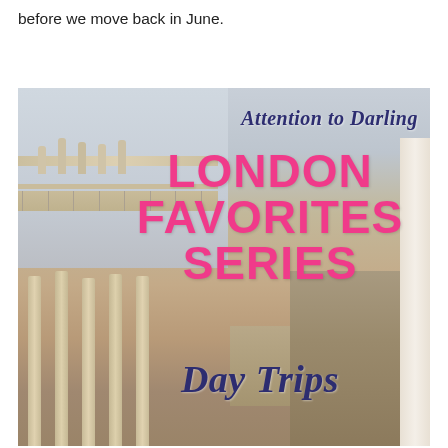before we move back in June.
[Figure (illustration): Promotional graphic overlay on a photo of a classical Roman-style building (likely the Roman Baths in Bath, England) with columns, statues, and stone architecture. Text overlaid on the image reads: 'Attention to Darling' in dark navy italic script at top right, 'LONDON FAVORITES SERIES' in large bold pink uppercase text in the center-right, and 'Day Trips' in dark navy italic script at the bottom right.]